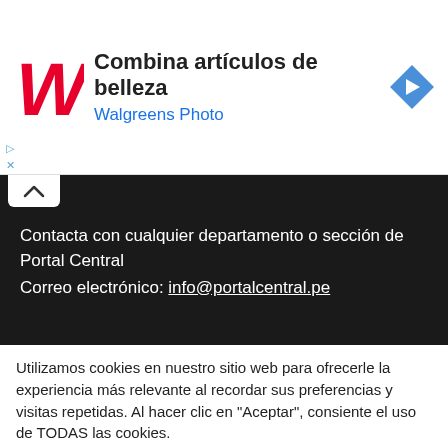[Figure (screenshot): Walgreens Photo advertisement banner with red cursive W logo, text 'Combina artículos de belleza' and 'Walgreens Photo', and a blue diamond arrow icon]
Contacta con cualquier departamento o sección de Portal Central
Correo electrónico: info@portalcentral.pe
Utilizamos cookies en nuestro sitio web para ofrecerle la experiencia más relevante al recordar sus preferencias y visitas repetidas. Al hacer clic en "Aceptar", consiente el uso de TODAS las cookies.
No vender mis datos personales.
Configuración de las cookies  Acepto